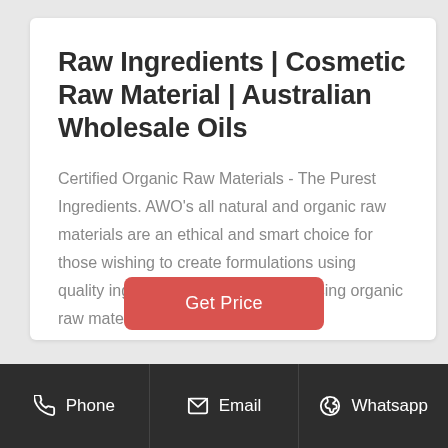Raw Ingredients | Cosmetic Raw Material | Australian Wholesale Oils
Certified Organic Raw Materials - The Purest Ingredients. AWO's all natural and organic raw materials are an ethical and smart choice for those wishing to create formulations using quality ingredients. Products made using organic raw materials a
[Figure (other): Red button with white text 'Get Price']
Phone   Email   Whatsapp